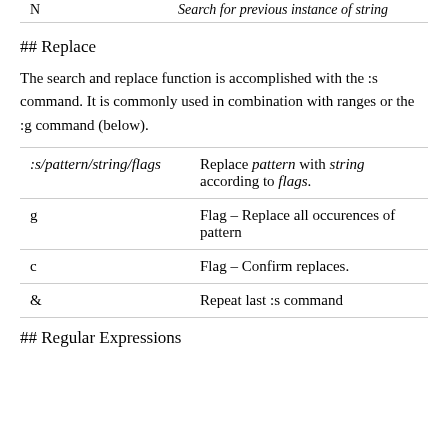| N | Search for previous instance of string |
## Replace
The search and replace function is accomplished with the :s command. It is commonly used in combination with ranges or the :g command (below).
| :s/pattern/string/flags | Replace pattern with string according to flags. |
| g | Flag – Replace all occurences of pattern |
| c | Flag – Confirm replaces. |
| & | Repeat last :s command |
## Regular Expressions